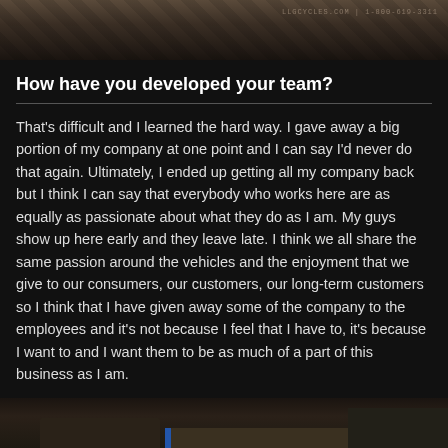[Figure (photo): Dark textured background image with cracked or weathered surface, with a faint watermark or logo text in the top right corner]
How have you developed your team?
That's difficult and I learned the hard way. I gave away a big portion of my company at one point and I can say I'd never do that again. Ultimately, I ended up getting all my company back but I think I can say that everybody who works here are as equally as passionate about what they do as I am. My guys show up here early and they leave late. I think we all share the same passion around the vehicles and the enjoyment that we give to our consumers, our customers, our long-term customers so I think that I have given away some of the company to the employees and it's not because I feel that I have to, it's because I want to and I want them to be as much of a part of this business as I am.
[Figure (photo): Dark image of what appears to be a workshop or garage interior with equipment and shelving visible in low light]